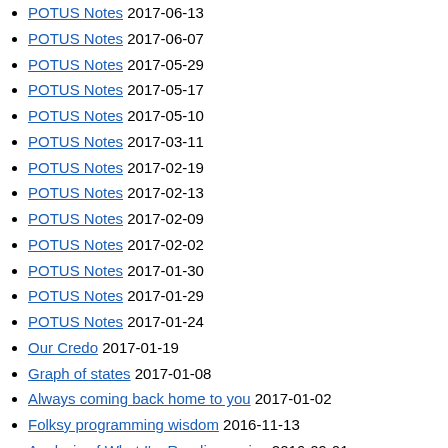POTUS Notes 2017-06-13
POTUS Notes 2017-06-07
POTUS Notes 2017-05-29
POTUS Notes 2017-05-17
POTUS Notes 2017-05-10
POTUS Notes 2017-03-11
POTUS Notes 2017-02-19
POTUS Notes 2017-02-13
POTUS Notes 2017-02-09
POTUS Notes 2017-02-02
POTUS Notes 2017-01-30
POTUS Notes 2017-01-29
POTUS Notes 2017-01-24
Our Credo 2017-01-19
Graph of states 2017-01-08
Always coming back home to you 2017-01-02
Folksy programming wisdom 2016-11-13
Analysis of What I'm Reading series 2016-09-01
Enjoy scripting with Clojure 2016-08-01
What I'm reading 7/18-7/25 2016-07-25
What I'm reading 7/11-7/18 2016-07-18
What I'm reading 7/4-7/11 2016-07-11
What I'm reading 6/27-7/4 2016-07-04
What I'm reading 6/20-6/27 2016-06-27
What I'm reading 6/13-6/20 2016-06-20